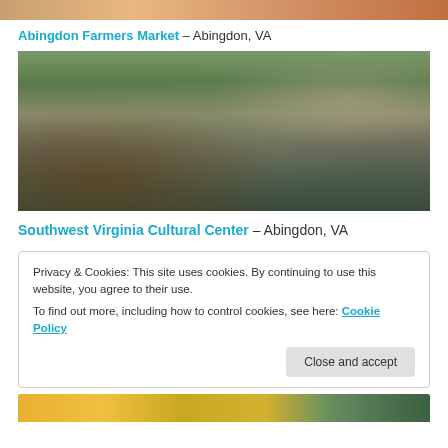[Figure (photo): Top partial image of what appears to be food or market produce, cropped at top of page]
Abingdon Farmers Market – Abingdon, VA
[Figure (photo): Outdoor photo of Abingdon Farmers Market showing a green-roofed pavilion structure filled with people shopping, vendors with tents visible in background, and a sign reading Abingdon Virginia Grown Community Farmers Market]
Southwest Virginia Cultural Center – Abingdon, VA
Privacy & Cookies: This site uses cookies. By continuing to use this website, you agree to their use.
To find out more, including how to control cookies, see here: Cookie Policy
Close and accept
[Figure (photo): Bottom partial photo showing orange/yellow tulips and greenery]